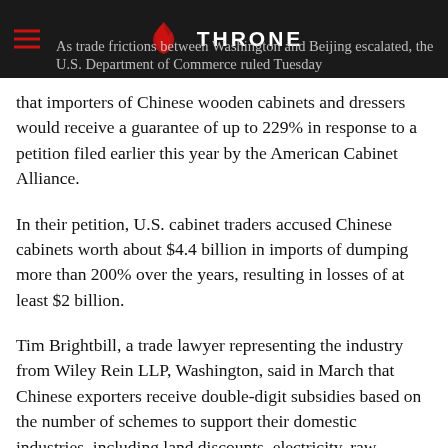THRONE — As trade frictions between Washington and Beijing escalated, the U.S. Department of Commerce ruled Tuesday
that importers of Chinese wooden cabinets and dressers would receive a guarantee of up to 229% in response to a petition filed earlier this year by the American Cabinet Alliance.
In their petition, U.S. cabinet traders accused Chinese cabinets worth about $4.4 billion in imports of dumping more than 200% over the years, resulting in losses of at least $2 billion.
Tim Brightbill, a trade lawyer representing the industry from Wiley Rein LLP, Washington, said in March that Chinese exporters receive double-digit subsidies based on the number of schemes to support their domestic industries, including land discounts, electricity, raw materials, grants, discounted loans and export incentives.